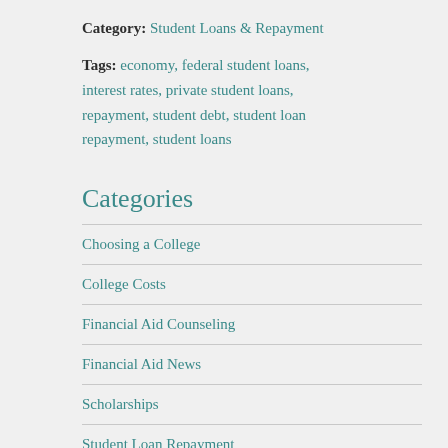Category: Student Loans & Repayment
Tags: economy, federal student loans, interest rates, private student loans, repayment, student debt, student loan repayment, student loans
Categories
Choosing a College
College Costs
Financial Aid Counseling
Financial Aid News
Scholarships
Student Loan Repayment